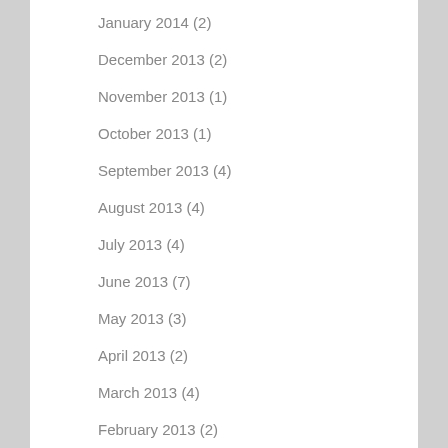January 2014 (2)
December 2013 (2)
November 2013 (1)
October 2013 (1)
September 2013 (4)
August 2013 (4)
July 2013 (4)
June 2013 (7)
May 2013 (3)
April 2013 (2)
March 2013 (4)
February 2013 (2)
December 2012 (2)
November 2012 (4)
September 2012 (3)